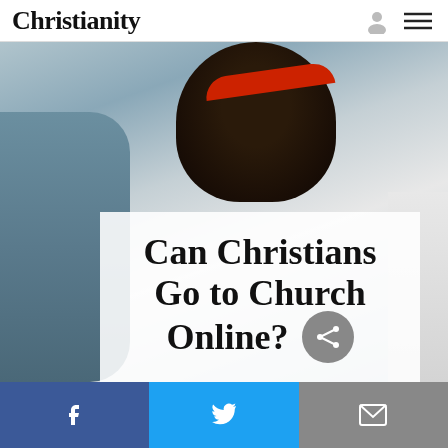Christianity
[Figure (photo): Person with curly hair and red bandana headband, sitting in front of a computer, photographed from slightly above. Background is blurred/light.]
Can Christians Go to Church Online?
BY  Adriel Sanchez
POSTED July 11, 2019
[Figure (infographic): Social media sharing bar with Facebook (blue), Twitter (light blue), and Email (gray) buttons at bottom of page]